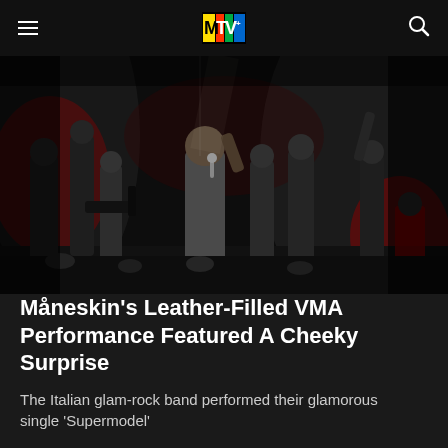MTV
[Figure (photo): Måneskin performing at the MTV VMAs on a dark stage filled with dancers in leather outfits. Lead singer shirtless at center, surrounded by performers.]
Måneskin's Leather-Filled VMA Performance Featured A Cheeky Surprise
The Italian glam-rock band performed their glamorous single 'Supermodel'
08/28/2022